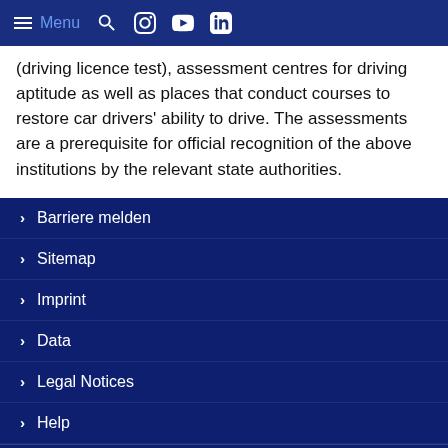Menu (navigation bar with icons for search, Instagram, YouTube, LinkedIn)
(driving licence test), assessment centres for driving aptitude as well as places that conduct courses to restore car drivers' ability to drive. The assessments are a prerequisite for official recognition of the above institutions by the relevant state authorities.
Barriere melden
Sitemap
Imprint
Data
Legal Notices
Help
© 2022 Federal Highway Research Institute